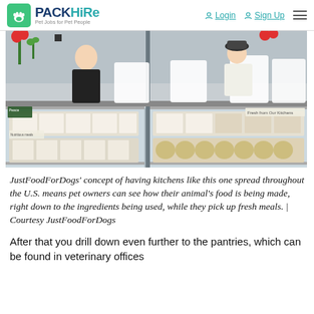PackHire — Pet Jobs for Pet People | Login | Sign Up
[Figure (photo): Interior of a JustFoodForDogs kitchen/retail store showing two workers behind a counter with white branded boxes, refrigerated display cases with packaged food, flowers, and fresh pet food containers.]
JustFoodForDogs' concept of having kitchens like this one spread throughout the U.S. means pet owners can see how their animal's food is being made, right down to the ingredients being used, while they pick up fresh meals. | Courtesy JustFoodForDogs
After that you drill down even further to the pantries, which can be found in veterinary offices